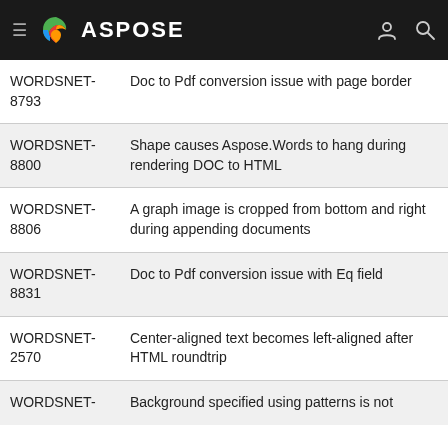ASPOSE
| ID | Description |
| --- | --- |
| WORDSNET-8793 | Doc to Pdf conversion issue with page border |
| WORDSNET-8800 | Shape causes Aspose.Words to hang during rendering DOC to HTML |
| WORDSNET-8806 | A graph image is cropped from bottom and right during appending documents |
| WORDSNET-8831 | Doc to Pdf conversion issue with Eq field |
| WORDSNET-2570 | Center-aligned text becomes left-aligned after HTML roundtrip |
| WORDSNET- | Background specified using patterns is not |